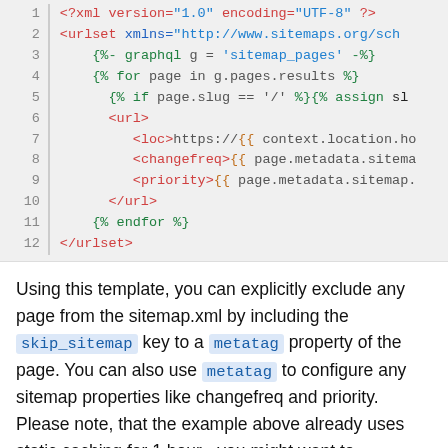[Figure (screenshot): Code block showing an XML sitemap template with line numbers 1-12, using template syntax with colored syntax highlighting. Lines show urlset, graphql assignment, for loop, if condition, url elements (loc, changefreq, priority), endfor, and closing urlset.]
Using this template, you can explicitly exclude any page from the sitemap.xml by including the skip_sitemap key to a metatag property of the page. You can also use metatag to configure any sitemap properties like changefreq and priority. Please note, that the example above already uses static caching for 1 hour - you might want to